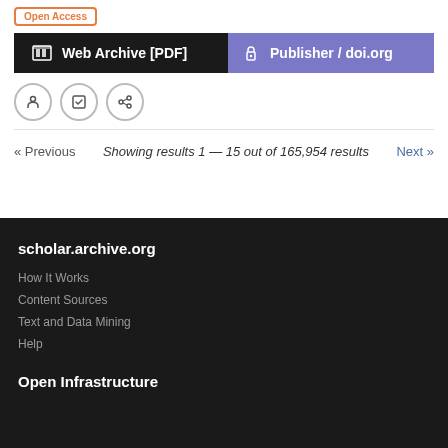Open Access
Web Archive [PDF]
Publisher / doi.org
Showing results 1 — 15 out of 165,954 results
scholar.archive.org
How It Works
Content Sources
Text and Data Mining
Help
Open Infrastructure